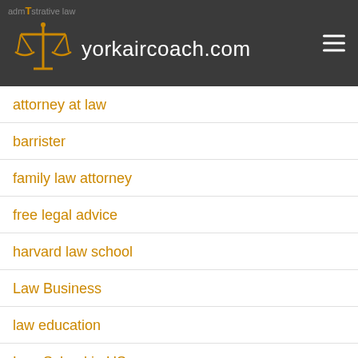yorkaircoach.com
attorney at law
barrister
family law attorney
free legal advice
harvard law school
Law Business
law education
Law School in US
law school rankings
lawyer
legal